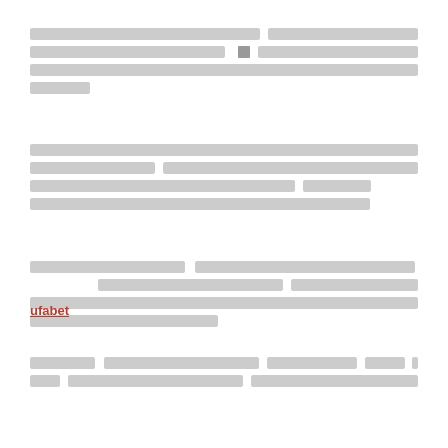[Thai text paragraph 1 - redacted/blurred content]
[Thai text paragraph 2 - redacted/blurred content]
[Thai text paragraph 3 with 'ufabet' link - redacted/blurred content]
[Thai text paragraph 4 - redacted/blurred content]